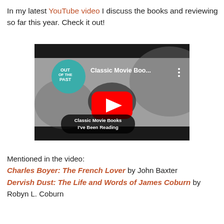In my latest YouTube video I discuss the books and reviewing so far this year. Check it out!
[Figure (screenshot): YouTube video thumbnail showing 'Classic Movie Boo...' with the Out of the Past logo, a YouTube play button, and text overlay 'Classic Movie Books I've Been Reading' over a black and white movie still.]
Mentioned in the video:
Charles Boyer: The French Lover by John Baxter
Dervish Dust: The Life and Words of James Coburn by Robyn L. Coburn